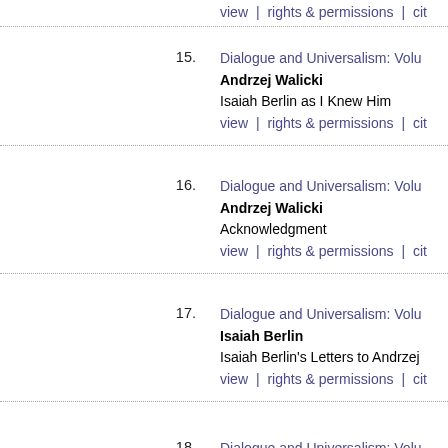view | rights & permissions | cite
15. Dialogue and Universalism: Volu... Andrzej Walicki — Isaiah Berlin as I Knew Him — view | rights & permissions | cite
16. Dialogue and Universalism: Volu... Andrzej Walicki — Acknowledgment — view | rights & permissions | cite
17. Dialogue and Universalism: Volu... Isaiah Berlin — Isaiah Berlin's Letters to Andrzej... — view | rights & permissions | cite
18. Dialogue and Universalism: Volu... Appendix — view | rights & permissions | cite